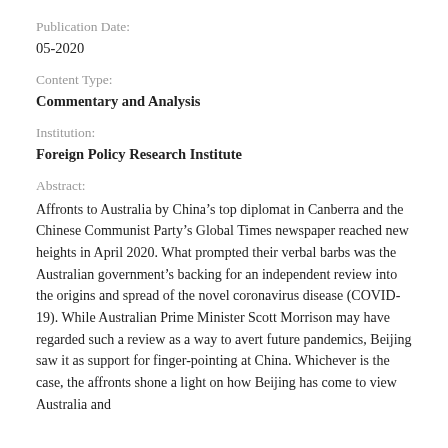Publication Date:
05-2020
Content Type:
Commentary and Analysis
Institution:
Foreign Policy Research Institute
Abstract:
Affronts to Australia by China's top diplomat in Canberra and the Chinese Communist Party's Global Times newspaper reached new heights in April 2020. What prompted their verbal barbs was the Australian government's backing for an independent review into the origins and spread of the novel coronavirus disease (COVID-19). While Australian Prime Minister Scott Morrison may have regarded such a review as a way to avert future pandemics, Beijing saw it as support for finger-pointing at China. Whichever is the case, the affronts shone a light on how Beijing has come to view Australia and